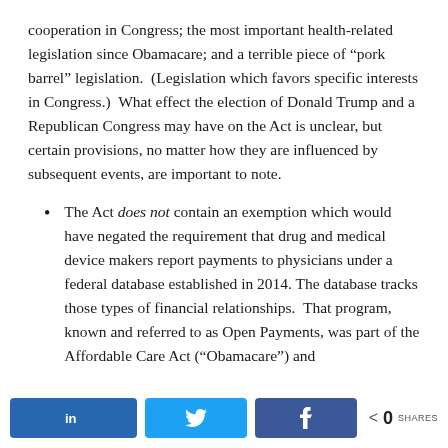cooperation in Congress; the most important health-related legislation since Obamacare; and a terrible piece of “pork barrel” legislation. (Legislation which favors specific interests in Congress.) What effect the election of Donald Trump and a Republican Congress may have on the Act is unclear, but certain provisions, no matter how they are influenced by subsequent events, are important to note.
The Act does not contain an exemption which would have negated the requirement that drug and medical device makers report payments to physicians under a federal database established in 2014. The database tracks those types of financial relationships. That program, known and referred to as Open Payments, was part of the Affordable Care Act (“Obamacare”) and
in [LinkedIn] [Twitter] [Facebook] < 0 SHARES